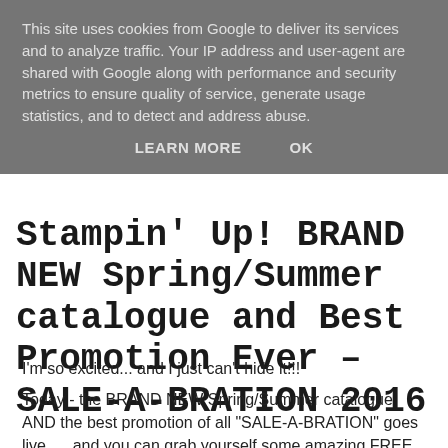This site uses cookies from Google to deliver its services and to analyze traffic. Your IP address and user-agent are shared with Google along with performance and security metrics to ensure quality of service, generate usage statistics, and to detect and address abuse.
LEARN MORE    OK
Stampin' Up! BRAND NEW Spring/Summer catalogue and Best Promotion Ever – SALE-A-BRATION 2016
I'm so excited... and I just can't hide it!!!
Today - the BRAND NEW Spring/Summer catalogue AND the best promotion of all "SALE-A-BRATION" goes live..... and you can grab yourself some amazing FREE products for every £45 you spend.